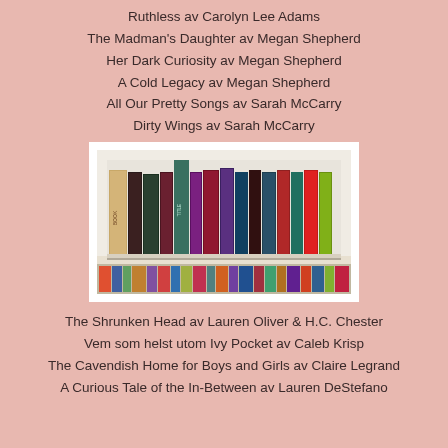Ruthless av Carolyn Lee Adams
The Madman's Daughter av Megan Shepherd
Her Dark Curiosity av Megan Shepherd
A Cold Legacy av Megan Shepherd
All Our Pretty Songs av Sarah McCarry
Dirty Wings av Sarah McCarry
[Figure (photo): A bookshelf photo showing multiple books standing upright on a white shelf with another row of books below, set against a white background with a white frame/border.]
The Shrunken Head av Lauren Oliver & H.C. Chester
Vem som helst utom Ivy Pocket av Caleb Krisp
The Cavendish Home for Boys and Girls av Claire Legrand
A Curious Tale of the In-Between av Lauren DeStefano